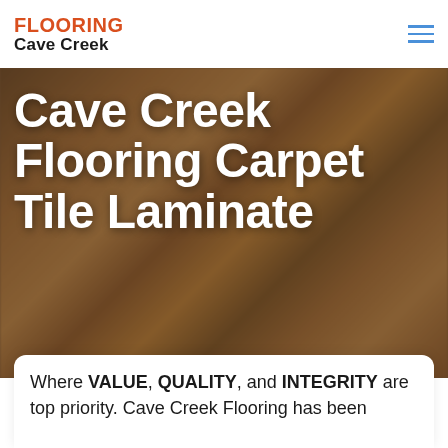[Figure (logo): Flooring Cave Creek logo with FLOORING in red/orange bold text and Cave Creek in bold black text below]
[Figure (photo): Blurred background photo of wooden flooring planks being installed, warm brown tones with dark overlay]
Cave Creek Flooring Carpet Tile Laminate
Where VALUE, QUALITY, and INTEGRITY are top priority. Cave Creek Flooring has been